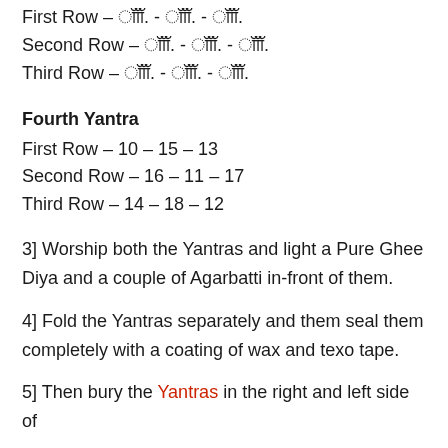First Row – ??? - ??? - ???.
Second Row – ???. - ???. - ???.
Third Row – ???. - ???. - ???.
Fourth Yantra
First Row – 10 – 15 – 13
Second Row – 16 – 11 – 17
Third Row – 14 – 18 – 12
3] Worship both the Yantras and light a Pure Ghee Diya and a couple of Agarbatti in-front of them.
4] Fold the Yantras separately and them seal them completely with a coating of wax and texo tape.
5] Then bury the Yantras in the right and left side of